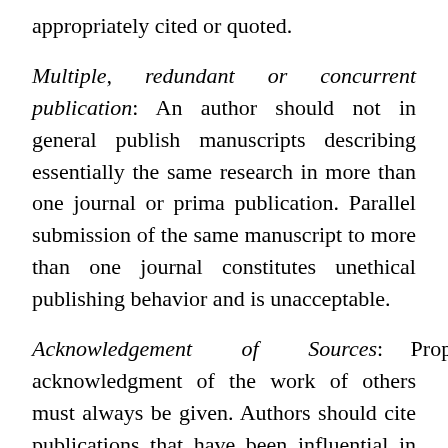appropriately cited or quoted.
Multiple, redundant or concurrent publication: An author should not in general publish manuscripts describing essentially the same research in more than one journal or prima publication. Parallel submission of the same manuscript to more than one journal constitutes unethical publishing behavior and is unacceptable.
Acknowledgement of Sources: Proper acknowledgment of the work of others must always be given. Authors should cite publications that have been influential in determining the nature of the reported work.
Authorship of the Paper: Authorship should be limited to those who have made a significant contribution to the conception, design, execution or